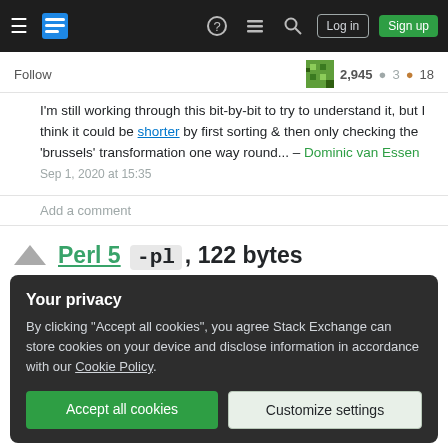Stack Exchange navigation bar with hamburger menu, logo, help, chat, search, Log in, Sign up
Follow  2,945  3  18
I'm still working through this bit-by-bit to try to understand it, but I think it could be shorter by first sorting & then only checking the 'brussels' transformation one way round... – Dominic van Essen
Sep 1, 2020 at 15:35
Add a comment
Perl 5 -pl, 122 bytes
Your privacy
By clicking "Accept all cookies", you agree Stack Exchange can store cookies on your device and disclose information in accordance with our Cookie Policy.
Accept all cookies  Customize settings
Improve this answer  Xcall